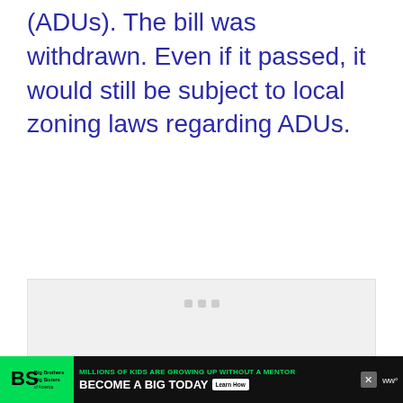(ADUs). The bill was withdrawn. Even if it passed, it would still be subject to local zoning laws regarding ADUs.
[Figure (other): Advertisement placeholder box with three gray dots (loading indicator) centered near the top]
[Figure (other): Big Brothers Big Sisters advertisement banner. Green logo area on left, black background, text: MILLIONS OF KIDS ARE GROWING UP WITHOUT A MENTOR. BECOME A BIG TODAY. Learn How button. Close X button. Watcher logo on right.]